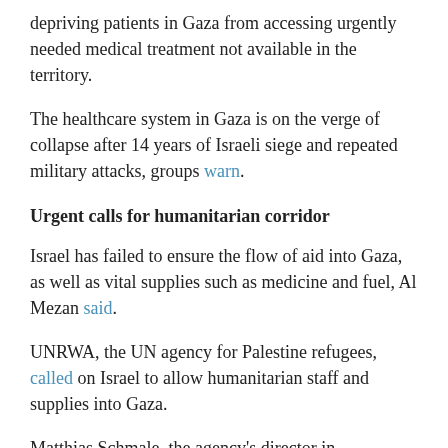depriving patients in Gaza from accessing urgently needed medical treatment not available in the territory.
The healthcare system in Gaza is on the verge of collapse after 14 years of Israeli siege and repeated military attacks, groups warn.
Urgent calls for humanitarian corridor
Israel has failed to ensure the flow of aid into Gaza, as well as vital supplies such as medicine and fuel, Al Mezan said.
UNRWA, the UN agency for Palestine refugees, called on Israel to allow humanitarian staff and supplies into Gaza.
Matthias Schmale, the agency's director in